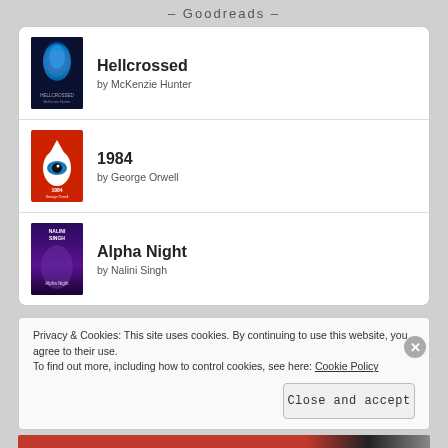- Goodreads -
Hellcrossed by McKenzie Hunter
1984 by George Orwell
Alpha Night by Nalini Singh
Privacy & Cookies: This site uses cookies. By continuing to use this website, you agree to their use. To find out more, including how to control cookies, see here: Cookie Policy
Close and accept